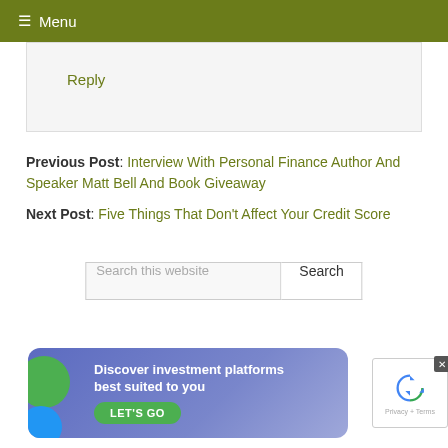≡ Menu
Reply
Previous Post: Interview With Personal Finance Author And Speaker Matt Bell And Book Giveaway
Next Post: Five Things That Don't Affect Your Credit Score
Search this website
[Figure (screenshot): Advertisement banner with blue/purple gradient background, green circular blobs on left side, white text reading 'Discover investment platforms best suited to you' with a green 'LET'S GO' button]
[Figure (logo): reCAPTCHA logo with blue arrow icon and 'Privacy + Terms' text below]